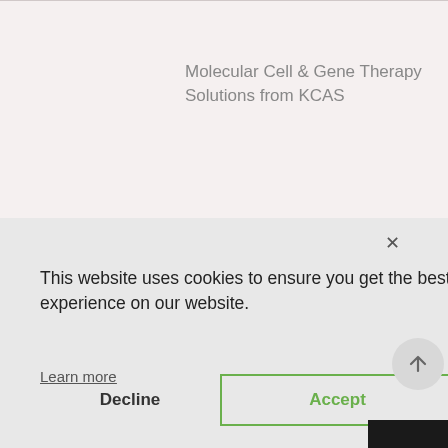Molecular Cell & Gene Therapy Solutions from KCAS
assays?
This website uses cookies to ensure you get the best experience on our website.
Learn more
Decline
Accept